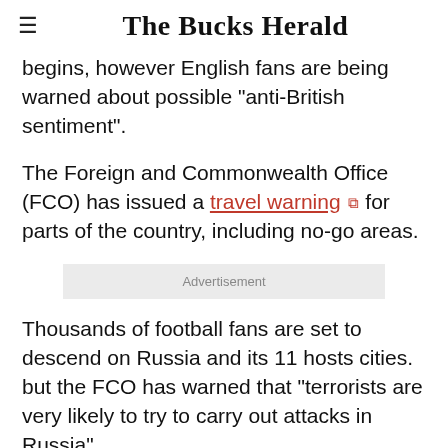The Bucks Herald
begins, however English fans are being warned about possible "anti-British sentiment".
The Foreign and Commonwealth Office (FCO) has issued a travel warning for parts of the country, including no-go areas.
[Figure (other): Advertisement placeholder box]
Thousands of football fans are set to descend on Russia and its 11 hosts cities. but the FCO has warned that "terrorists are very likely to try to carry out attacks in Russia".